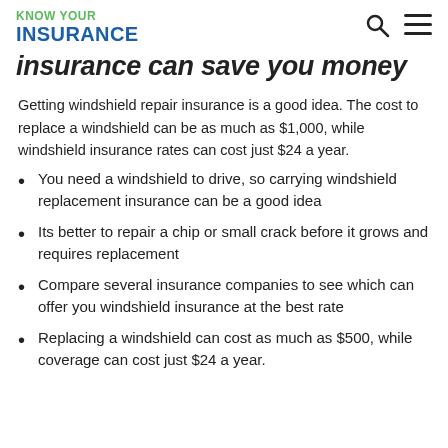KNOW YOUR INSURANCE
insurance can save you money
Getting windshield repair insurance is a good idea. The cost to replace a windshield can be as much as $1,000, while windshield insurance rates can cost just $24 a year.
You need a windshield to drive, so carrying windshield replacement insurance can be a good idea
Its better to repair a chip or small crack before it grows and requires replacement
Compare several insurance companies to see which can offer you windshield insurance at the best rate
Replacing a windshield can cost as much as $500, while coverage can cost just $24 a year.